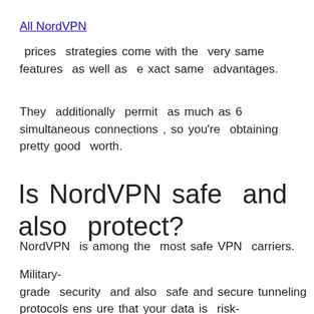All NordVPN
prices strategies come with the very same features as well as exact same advantages.
They additionally permit as much as 6 simultaneous connections, so you're obtaining pretty good worth.
Is NordVPN safe and also protect?
NordVPN is among the most safe VPN carriers.
Military-grade security and also safe and secure tunneling protocols ensure that your data is risk-free, and NordVPN's standard web servers operate on RAM. RAM web servers are very useful for a VPN; as the information gets